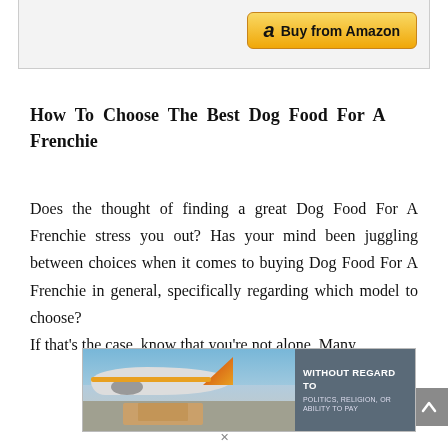[Figure (other): Amazon 'Buy from Amazon' button in a light gray bordered box at the top of the page]
How To Choose The Best Dog Food For A Frenchie
Does the thought of finding a great Dog Food For A Frenchie stress you out? Has your mind been juggling between choices when it comes to buying Dog Food For A Frenchie in general, specifically regarding which model to choose?
If that's the case, know that you're not alone. Many
[Figure (photo): Advertisement banner showing an airplane being loaded with cargo, with text overlay 'WITHOUT REGARD TO POLITICS, RELIGION, OR ABILITY TO PAY']